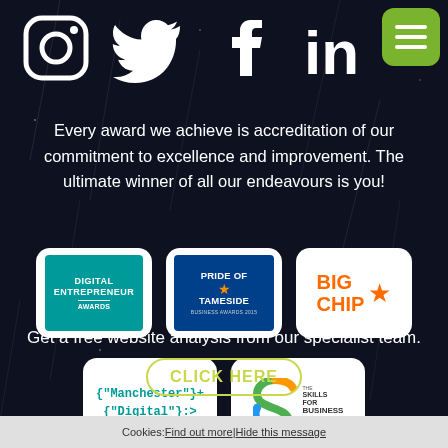[Figure (illustration): Social media icons: Instagram, Twitter, Facebook, LinkedIn, and a green hamburger menu button on dark background]
Every award we achieve is accreditation of our commitment to excellence and improvement. The ultimate winner of all our endeavours is you!
[Figure (logo): Digital Entrepreneur Awards logo - teal background]
[Figure (logo): Pride of Tameside Business Awards logo - dark blue background with orange star]
[Figure (logo): Big Chip logo - orange text with star]
[Figure (logo): Manchester Digital logo in teal code-style font]
[Figure (logo): Skills for Business Awards logo with colorful S symbol]
Get a free website analysis from our specialist team.
CLICK HERE
Cookies: Find out more | Hide this message